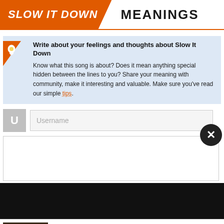SLOW IT DOWN | MEANINGS
Write about your feelings and thoughts about Slow It Down
Know what this song is about? Does it mean anything special hidden between the lines to you? Share your meaning with community, make it interesting and valuable. Make sure you've read our simple tips.
U  Username
Selena Gomez - Slow Down (Official)